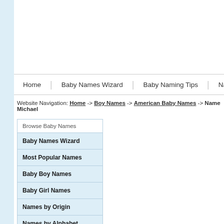Home | Baby Names Wizard | Baby Naming Tips | Names Search
Website Navigation: Home -> Boy Names -> American Baby Names -> Name Michael
Browse Baby Names
Baby Names Wizard
Most Popular Names
Baby Boy Names
Baby Girl Names
Names by Origin
Names by Alphabet
Baby Naming Tips
Impressions of Names